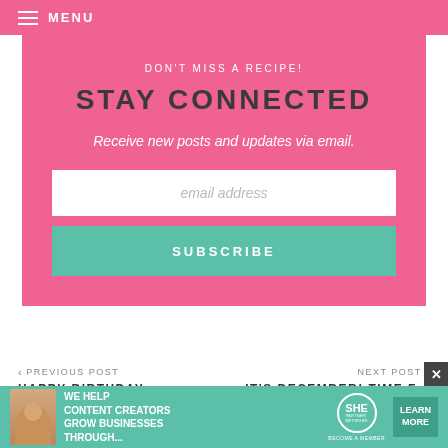MENU
DON'T MISS A RECIPE!
STAY CONNECTED
Receive new posts and updates via email.
email address
SUBSCRIBE
< PREVIOUS POST
HAPPY BIRTHDAY CUPCAKES
NEXT POST >
IT'S DECEMBER! TIME F...
CHRISTMAS CUPCAK...
[Figure (infographic): SHE Partner Network advertisement banner with photo of woman, text 'WE HELP CONTENT CREATORS GROW BUSINESSES THROUGH...', SHE logo, and LEARN MORE button]